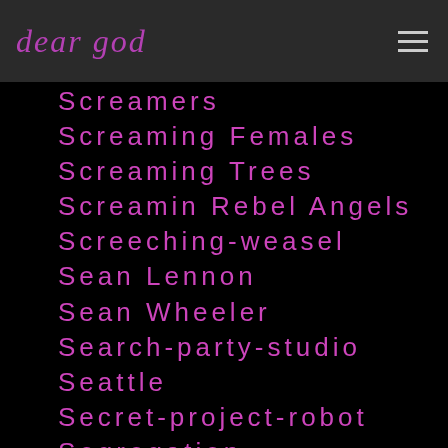dear god
Screamers
Screaming Females
Screaming Trees
Screamin Rebel Angels
Screeching-weasel
Sean Lennon
Sean Wheeler
Search-party-studio
Seattle
Secret-project-robot
Segregation
Selecter
Sen Dog
Sepultura
Serbia
Sergei Rachmaninoff
Serra Petale